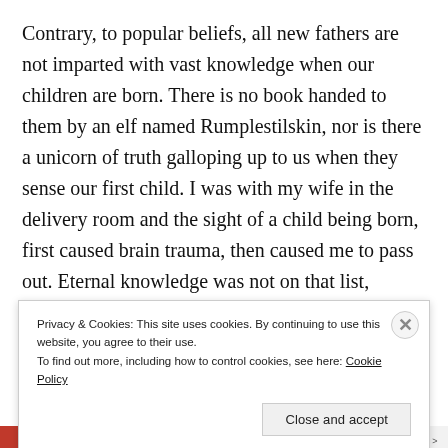Contrary, to popular beliefs, all new fathers are not imparted with vast knowledge when our children are born. There is no book handed to them by an elf named Rumplestilskin, nor is there a unicorn of truth galloping up to us when they sense our first child. I was with my wife in the delivery room and the sight of a child being born, first caused brain trauma, then caused me to pass out. Eternal knowledge was not on that list, although smelling salts, and a short hospital stay was.
The reason I'm telling you all this is simple. It is Back
Privacy & Cookies: This site uses cookies. By continuing to use this website, you agree to their use.
To find out more, including how to control cookies, see here: Cookie Policy
Close and accept